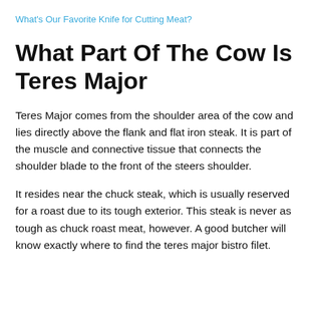What's Our Favorite Knife for Cutting Meat?
What Part Of The Cow Is Teres Major
Teres Major comes from the shoulder area of the cow and lies directly above the flank and flat iron steak. It is part of the muscle and connective tissue that connects the shoulder blade to the front of the steers shoulder.
It resides near the chuck steak, which is usually reserved for a roast due to its tough exterior. This steak is never as tough as chuck roast meat, however. A good butcher will know exactly where to find the teres major bistro filet.